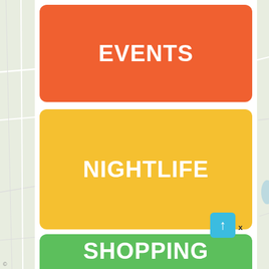[Figure (screenshot): Map background visible on left and right edges of the screen]
EVENTS
NIGHTLIFE
SHOPPING